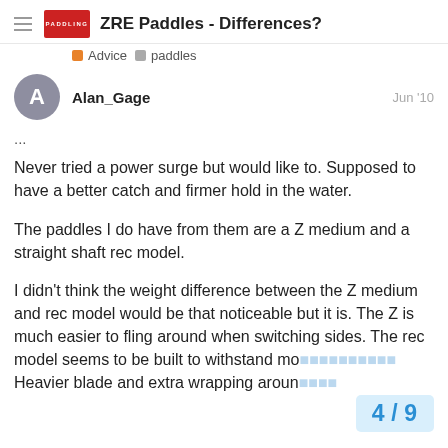ZRE Paddles - Differences?
Advice  paddles
Alan_Gage   Jun '10
...
Never tried a power surge but would like to. Supposed to have a better catch and firmer hold in the water.
The paddles I do have from them are a Z medium and a straight shaft rec model.
I didn't think the weight difference between the Z medium and rec model would be that noticeable but it is. The Z is much easier to fling around when switching sides. The rec model seems to be built to withstand mo... Heavier blade and extra wrapping aroun...